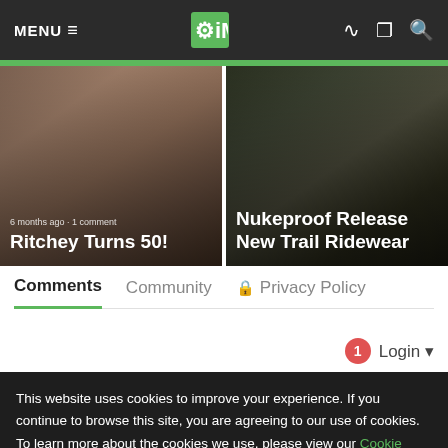MENU ≡  iMB (logo)  RSS Share Search
[Figure (photo): Article card showing 'Ritchey Turns 50!' with meta text '6 months ago · 1 comment' over a dark blurred workshop/bike image]
[Figure (photo): Article card showing 'Nukeproof Release New Trail Ridewear' over a dark trail/nature image]
Comments  Community  🔒 Privacy Policy
1  Login ▾
This website uses cookies to improve your experience. If you continue to browse this site, you are agreeing to our use of cookies. To learn more about the cookies we use, please view our Cookie Policy and Privacy Policy. You can disable cookies at any time within your browser settings.
OK, Close